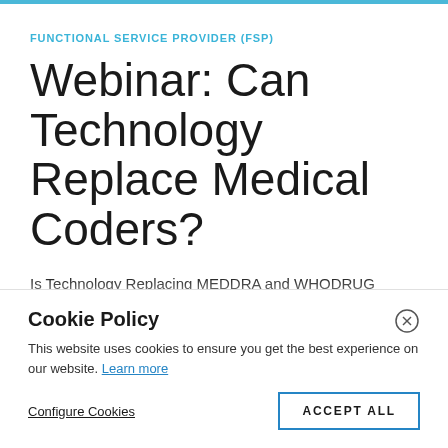FUNCTIONAL SERVICE PROVIDER (FSP)
Webinar: Can Technology Replace Medical Coders?
Is Technology Replacing MEDDRA and WHODRUG Coding Specialists in Clinical Trials? All data generated in a clinical trial must be uniformly interpreted to
Cookie Policy
This website uses cookies to ensure you get the best experience on our website. Learn more
Configure Cookies
ACCEPT ALL